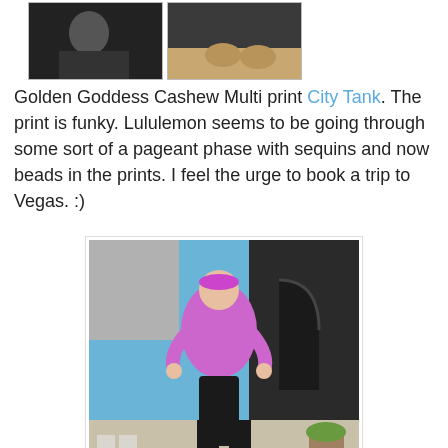[Figure (photo): Two photos side by side at top: left shows a person in dark athletic wear, right shows feet/shoes from above]
Golden Goddess Cashew Multi print City Tank. The print is funky. Lululemon seems to be going through some sort of a pageant phase with sequins and now beads in the prints. I feel the urge to book a trip to Vegas. :)
[Figure (photo): A woman running outdoors wearing a pink/magenta long-sleeve top, black pants, and a pink headband. Building with arched doorway in background.]